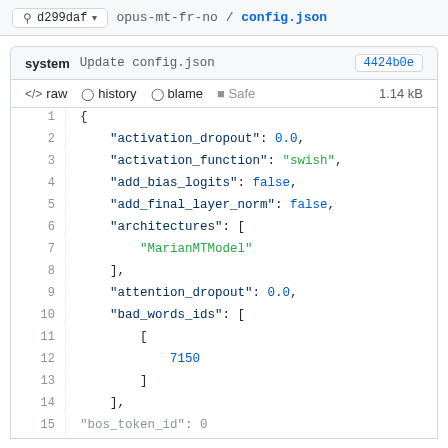d299daf  opus-mt-fr-no / config.json
system  Update config.json  4424b0e
<> raw  history  blame  Safe  1.14 kB
[Figure (screenshot): JSON code viewer showing lines 1-15 of config.json with syntax highlighting. Keys in dark blue, string values in green, numeric/boolean values in blue. Content: { activation_dropout: 0.0, activation_function: swish, add_bias_logits: false, add_final_layer_norm: false, architectures: [ MarianMTModel ], attention_dropout: 0.0, bad_words_ids: [ [ 7150 ] ], (bos_token_id partially visible)]